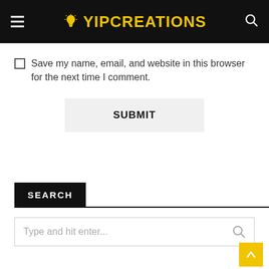YIPCREATIONS
Save my name, email, and website in this browser for the next time I comment.
SUBMIT
SEARCH
Type and hit enter...